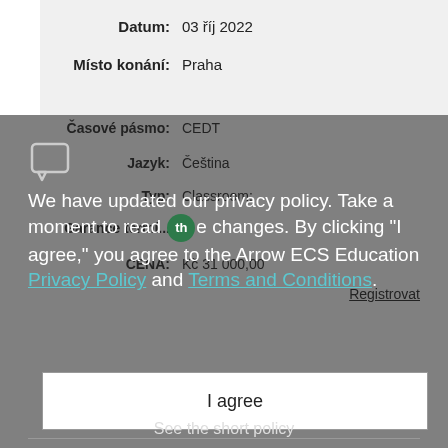Datum: 03 říj 2022
Místo konání: Praha
Časové pásmo: CEDT
Jazyk: Čeština
Typ: Classroom:
Garance termí...
CENA: Kč 31 000,00
We have updated our privacy policy. Take a moment to read the changes. By clicking "I agree," you agree to the Arrow ECS Education Privacy Policy and Terms and Conditions.
I agree
Registrovat
See the short policy